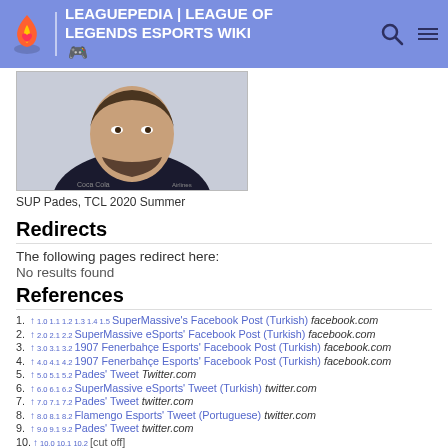LEAGUEPEDIA | LEAGUE OF LEGENDS ESPORTS WIKI
[Figure (photo): Photo of Pades, a League of Legends esports player, cropped to show face and upper torso in team jersey]
SUP Pades, TCL 2020 Summer
Redirects
The following pages redirect here:
No results found
References
1. ↑ 1.0 1.1 1.2 1.3 1.4 1.5 SuperMassive's Facebook Post (Turkish) facebook.com
2. ↑ 2.0 2.1 2.2 SuperMassive eSports' Facebook Post (Turkish) facebook.com
3. ↑ 3.0 3.1 3.2 1907 Fenerbahçe Esports' Facebook Post (Turkish) facebook.com
4. ↑ 4.0 4.1 4.2 1907 Fenerbahçe Esports' Facebook Post (Turkish) facebook.com
5. ↑ 5.0 5.1 5.2 Pades' Tweet Twitter.com
6. ↑ 6.0 6.1 6.2 SuperMassive eSports' Tweet (Turkish) twitter.com
7. ↑ 7.0 7.1 7.2 Pades' Tweet twitter.com
8. ↑ 8.0 8.1 8.2 Flamengo Esports' Tweet (Portuguese) twitter.com
9. ↑ 9.0 9.1 9.2 Pades' Tweet twitter.com
10. ↑ 10.0 10.1 10.2 [cut off]